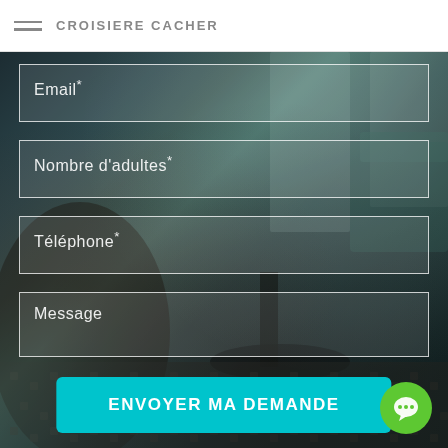CROISIERE CACHER
[Figure (screenshot): Contact form over a dark hotel room background photo. Fields: Email*, Nombre d'adultes*, Téléphone*, Message. Submit button: ENVOYER MA DEMANDE. Chat bubble in bottom right.]
Email*
Nombre d'adultes*
Téléphone*
Message
ENVOYER MA DEMANDE